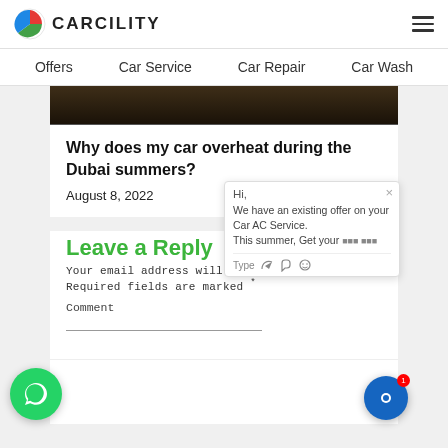CARCILITY
Offers    Car Service    Car Repair    Car Wash
[Figure (photo): Dark/blurred car interior image strip at top of article]
Why does my car overheat during the Dubai summers?
August 8, 2022
Leave a Reply
Your email address will not be published. Required fields are marked *
Comment